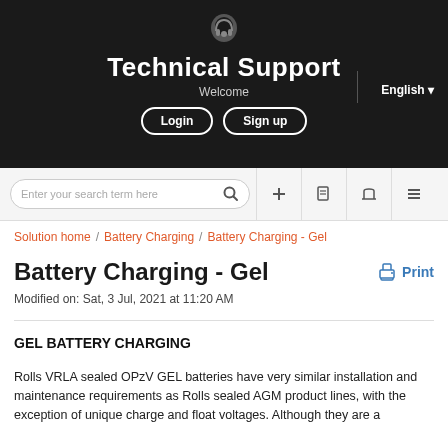Technical Support
Welcome
English
Login | Sign up
Enter your search term here
Solution home / Battery Charging / Battery Charging - Gel
Battery Charging - Gel
Modified on: Sat, 3 Jul, 2021 at 11:20 AM
GEL BATTERY CHARGING
Rolls VRLA sealed OPzV GEL batteries have very similar installation and maintenance requirements as Rolls sealed AGM product lines, with the exception of unique charge and float voltages. Although they are a